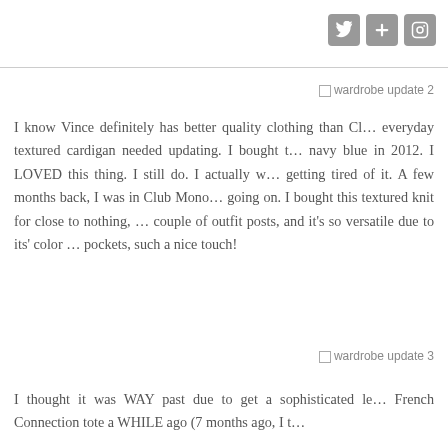[social icons: Twitter, Google+, Instagram]
[Figure (other): Broken image placeholder labeled 'wardrobe update 2']
I know Vince definitely has better quality clothing than Cl… everyday textured cardigan needed updating. I bought t… navy blue in 2012. I LOVED this thing. I still do. I actually w… getting tired of it. A few months back, I was in Club Mono… going on. I bought this textured knit for close to nothing, … couple of outfit posts, and it's so versatile due to its' color … pockets, such a nice touch!
[Figure (other): Broken image placeholder labeled 'wardrobe update 3']
I thought it was WAY past due to get a sophisticated le… French Connection tote a WHILE ago (7 months ago, I t…